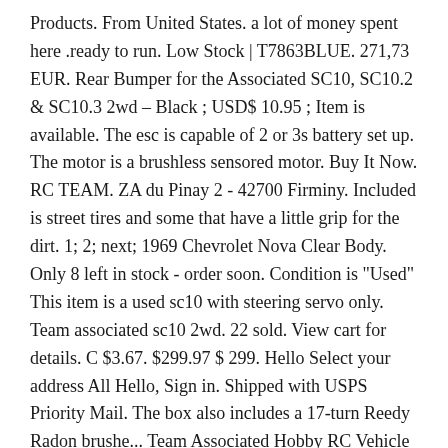Products. From United States. a lot of money spent here .ready to run. Low Stock | T7863BLUE. 271,73 EUR. Rear Bumper for the Associated SC10, SC10.2 & SC10.3 2wd – Black ; USD$ 10.95 ; Item is available. The esc is capable of 2 or 3s battery set up. The motor is a brushless sensored motor. Buy It Now. RC TEAM. ZA du Pinay 2 - 42700 Firminy. Included is street tires and some that have a little grip for the dirt. 1; 2; next; 1969 Chevrolet Nova Clear Body. Only 8 left in stock - order soon. Condition is "Used" This item is a used sc10 with steering servo only. Team associated sc10 2wd. 22 sold. View cart for details. C $3.67. $299.97 $ 299. Hello Select your address All Hello, Sign in. Shipped with USPS Priority Mail. The box also includes a 17-turn Reedy Radon brushe... Team Associated Hobby RC Vehicle Parts RC Hobby. Pro-Line Racing products have been made in America for over 30 years! Something went wrong. 1:10 Scale Electric 2WD Off Road Race Truck. The ProSC10 features a rear motor short-course chassis that utilizes many of the same parts from the widely